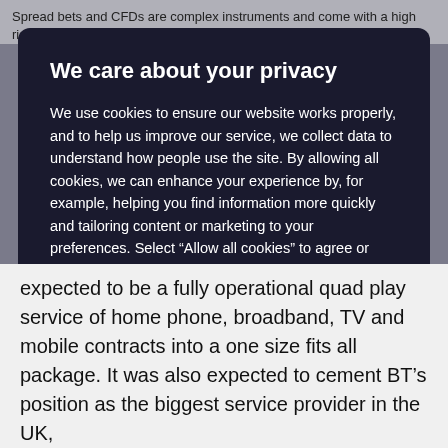Spread bets and CFDs are complex instruments and come with a high risk of losing
We care about your privacy
We use cookies to ensure our website works properly, and to help us improve our service, we collect data to understand how people use the site. By allowing all cookies, we can enhance your experience by, for example, helping you find information more quickly and tailoring content or marketing to your preferences. Select “Allow all cookies” to agree or “Manage preferences” to manage cookie settings. You can find out more by viewing our Cookie policy.
MANAGE PREFERENCES
ALLOW ALL COOKIES
expected to be a fully operational quad play service of home phone, broadband, TV and mobile contracts into a one size fits all package. It was also expected to cement BT’s position as the biggest service provider in the UK,